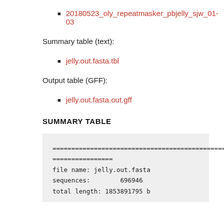20180523_oly_repeatmasker_pbjelly_sjw_01-03
Summary table (text):
jelly.out.fasta.tbl
Output table (GFF):
jelly.out.fasta.out.gff
SUMMARY TABLE
=================================================
file name: jelly.out.fasta
sequences:        696946
total length: 1853891795 bp